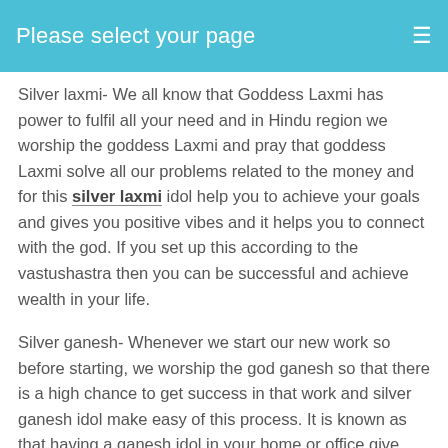Please select your page
Silver laxmi- We all know that Goddess Laxmi has power to fulfil all your need and in Hindu region we worship the goddess Laxmi and pray that goddess Laxmi solve all our problems related to the money and for this silver laxmi idol help you to achieve your goals and gives you positive vibes and it helps you to connect with the god. If you set up this according to the vastushastra then you can be successful and achieve wealth in your life.
Silver ganesh- Whenever we start our new work so before starting, we worship the god ganesh so that there is a high chance to get success in that work and silver ganesh idol make easy of this process. It is known as that having a ganesh idol in your home or office give you wisdom and happiness and fulfil all of your dream.
So, these are some silver idols if you want one of them you can get these from our website. You will see variety of silver idols and jewellery. We have excellent artist who can create jewellery for you according to your need. We prefer handmade silver jewellery and our clients love it so much because our client's need is our priority and we always working on it to give you best